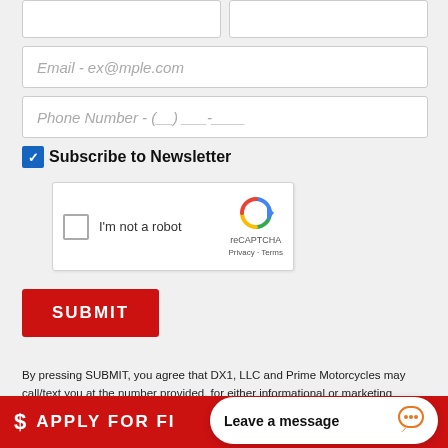[Figure (screenshot): Two half-width input fields at top (partially visible)]
[Figure (screenshot): Email input field with placeholder 'Email - ex@mple.com']
[Figure (screenshot): Phone Number input field with placeholder 'Phone Number - (__) ___-____']
Subscribe to Newsletter
[Figure (screenshot): reCAPTCHA widget with checkbox and 'I'm not a robot' text]
[Figure (screenshot): Red SUBMIT button]
By pressing SUBMIT, you agree that DX1, LLC and Prime Motorcycles may call/text you at the number provided, for either informational or marketing purposes, using an automatic telephone dialing system or pre-recorded/artificial voices. Msg/data rates may apply. You don't need to consent as a condition of any purchase & you may revoke your consent at any time. You also agree to our Privacy Statement & Terms of Use.
[Figure (screenshot): Red bar at bottom with dollar sign and 'APPLY FOR FI...' text, and a chat popup saying 'Leave a message']